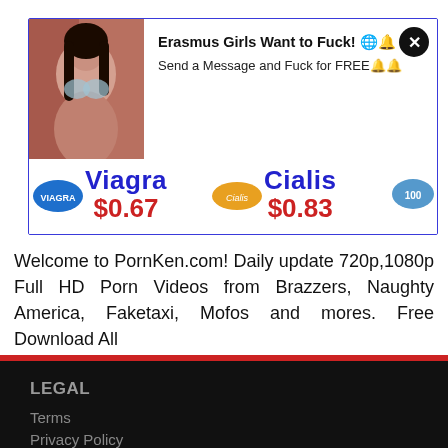[Figure (other): Advertisement popup with photo of woman and pharmaceutical drug ads for Viagra ($0.67) and Cialis ($0.83), with close button and notification text 'Erasmus Girls Want to Fuck! Send a Message and Fuck for FREE']
Welcome to PornKen.com! Daily update 720p,1080p Full HD Porn Videos from Brazzers, Naughty America, Faketaxi, Mofos and mores. Free Download All
LEGAL
Terms
Privacy Policy
DMCA
USEFUL
Sign up